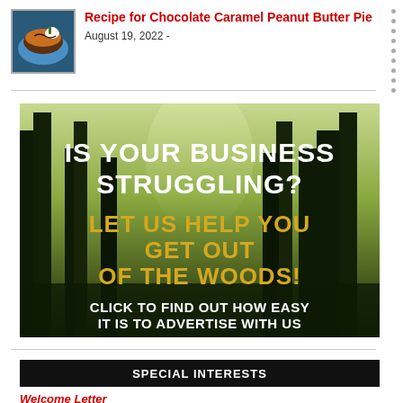[Figure (photo): Thumbnail image of a chocolate caramel peanut butter pie on a blue plate]
Recipe for Chocolate Caramel Peanut Butter Pie
August 19, 2022 -
[Figure (infographic): Advertisement banner with forest background. White text: IS YOUR BUSINESS STRUGGLING? Yellow text: LET US HELP YOU GET OUT OF THE WOODS! White text: CLICK TO FIND OUT HOW EASY IT IS TO ADVERTISE WITH US]
SPECIAL INTERESTS
Welcome Letter